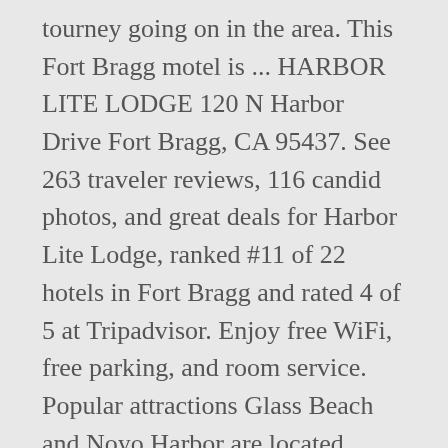tourney going on in the area. This Fort Bragg motel is ... HARBOR LITE LODGE 120 N Harbor Drive Fort Bragg, CA 95437. See 263 traveler reviews, 116 candid photos, and great deals for Harbor Lite Lodge, ranked #11 of 22 hotels in Fort Bragg and rated 4 of 5 at Tripadvisor. Enjoy free WiFi, free parking, and room service. Popular attractions Glass Beach and Noyo Harbor are located nearby. Ocean View Lodge. Phone: 707-964-0221 Toll Free: 800-643-2700. It's known for Glass Beach, with its shore full of colorful glass stones. Former name: The Harbor Lite Lodge + More - Less. See More. Among the facilities at this property are room service and a concierge service, along with free WiFi throughout the property. On the Mendocino